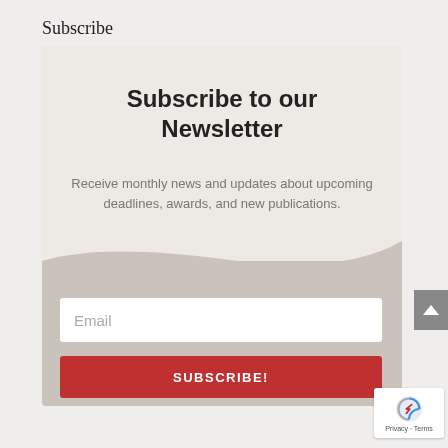Subscribe
Subscribe to our Newsletter
Receive monthly news and updates about upcoming deadlines, awards, and new publications.
Email
SUBSCRIBE!
Privacy · Terms